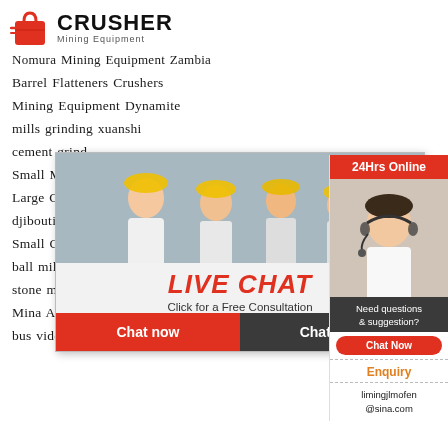[Figure (logo): Crusher Mining Equipment logo with red shopping bag icon and bold black CRUSHER text]
Nomura Mining Equipment Zambia
Barrel Flatteners Crushers
Mining Equipment Dynamite
mills grinding xuanshi
cement grind...
Small Mining...
Large Capaci...
djibouti bauxite grinding mill
Small Gold Ore Milling Equipment ore crushin...
ball mill for artisanal mining
stone making production line sand stone prod...
Mina Alumina Bauxite Mining
bus video advertising lcd
[Figure (screenshot): Live Chat popup overlay with workers in hard hats, LIVE CHAT title in red italic, Click for a Free Consultation subtitle, Chat now and Chat later buttons]
[Figure (screenshot): Right sidebar with 24Hrs Online header in red, customer service operator photo, Need questions and suggestion? section, Chat Now button, Enquiry section, limingjlmofen@sina.com email]